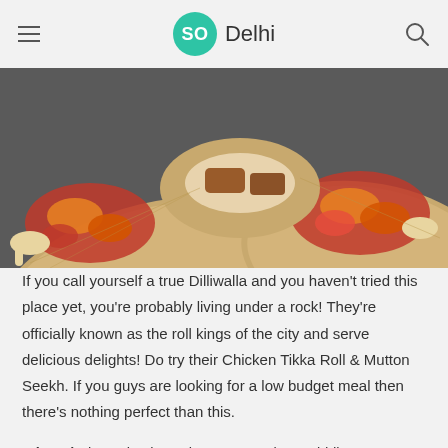SO Delhi
[Figure (photo): Food photo showing Indian rolls/chicken tikka served in leaf plates on a table]
If you call yourself a true Dilliwalla and you haven't tried this place yet, you're probably living under a rock! They're officially known as the roll kings of the city and serve delicious delights! Do try their Chicken Tikka Roll & Mutton Seekh. If you guys are looking for a low budget meal then there's nothing perfect than this.
Where | Khan Chacha - Shop 50, 1st Floor, Middle Lane
Timings | 11 AM - 11 PM
Call Them | +91 11 4368 0449
Check Out Their FB Page | https://www.facebook.com/khanche